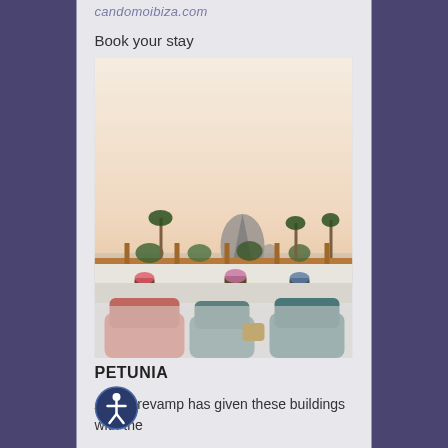candomoibiza.com
Book your stay
[Figure (photo): Rooftop terrace with pink and teal cushioned seating in the foreground, wooden railing with potted plants and flowers, white Mediterranean architecture, palm trees, and a dramatic rocky island (Es Vedrà) in the misty background at dusk]
PETUNIA
A total revamp has given these buildings with the